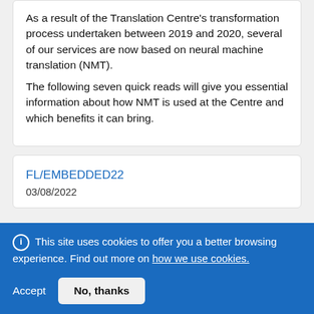As a result of the Translation Centre's transformation process undertaken between 2019 and 2020, several of our services are now based on neural machine translation (NMT). The following seven quick reads will give you essential information about how NMT is used at the Centre and which benefits it can bring.
FL/EMBEDDED22
03/08/2022
ⓘ This site uses cookies to offer you a better browsing experience. Find out more on how we use cookies.
Accept
No, thanks